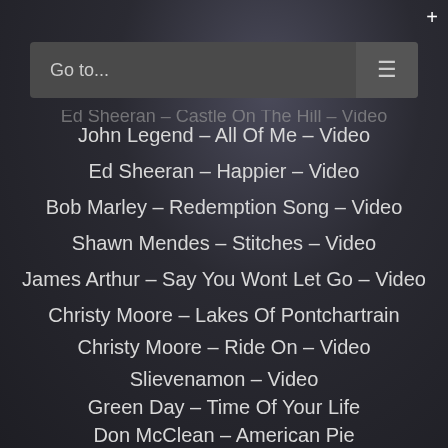+
Go to...
Ed Sheeran – Castle On The Hill – Video (partial, cut off at top)
John Legend – All Of Me – Video
Ed Sheeran – Happier – Video
Bob Marley – Redemption Song – Video
Shawn Mendes – Stitches – Video
James Arthur – Say You Wont Let Go – Video
Christy Moore – Lakes Of Pontchartrain
Christy Moore – Ride On – Video
Slievenamon – Video
Green Day – Time Of Your Life
Don McClean – American Pie
The Dubliners – Black Velvet band
John Denver – Country Roads (partially cut off at bottom)